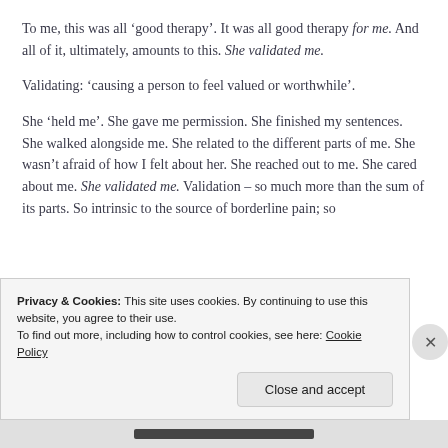To me, this was all ‘good therapy’. It was all good therapy for me. And all of it, ultimately, amounts to this. She validated me.
Validating: ‘causing a person to feel valued or worthwhile’.
She ‘held me’. She gave me permission. She finished my sentences. She walked alongside me. She related to the different parts of me. She wasn’t afraid of how I felt about her. She reached out to me. She cared about me. She validated me. Validation – so much more than the sum of its parts. So intrinsic to the source of borderline pain; so
Privacy & Cookies: This site uses cookies. By continuing to use this website, you agree to their use.
To find out more, including how to control cookies, see here: Cookie Policy
Close and accept